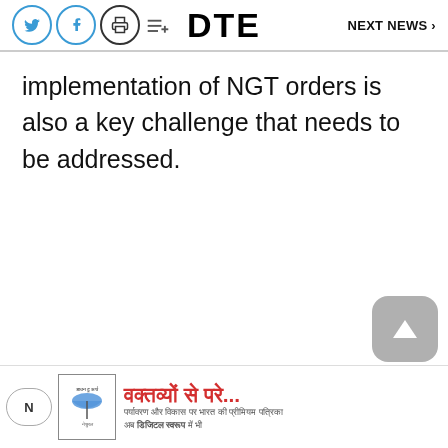DTE | NEXT NEWS
implementation of NGT orders is also a key challenge that needs to be addressed.
[Figure (other): Advertisement banner with Hindi text 'वक्तव्यों से परे...' and sub-text in Hindi, with a logo showing an umbrella icon]
N